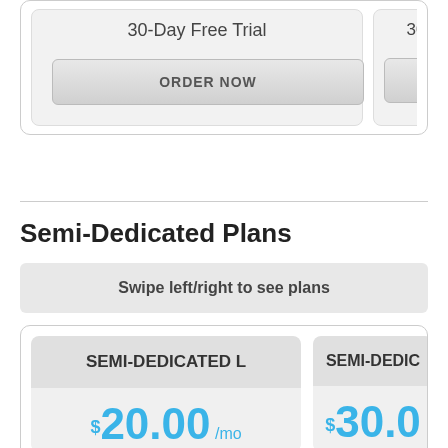30-Day Free Trial
ORDER NOW
30-Day Fre...
ORDER N...
Semi-Dedicated Plans
Swipe left/right to see plans
SEMI-DEDICATED L
$20.00 /mo
SEMI-DEDIC...
$30.00...